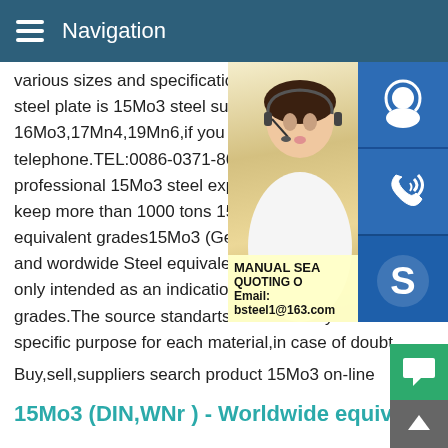Navigation
various sizes and specifications.15Mo3 - 
steel plate is 15Mo3 steel suppliers,we ca
16Mo3,17Mn4,19Mn6,if you need 15Mo3
telephone.TEL:0086-0371-86151827.Bebe
professional 15Mo3 steel exporter and a s
keep more than 1000 tons 15Mo315Mo3 (
equivalent grades15Mo3 (Germany,DIN,W
and wordwide Steel equivalent grades The
only intended as an indication of the close
grades.The source standarts should alway
specific purpose for each material,in case of doubt.
[Figure (photo): Woman with headset and contact icons (customer service, phone, Skype) with manual search and quoting overlay info]
Buy,sell,suppliers search product 15Mo3 on-line
15Mo3 (DIN,WNr ) - Worldwide equivalent grades
15Mo3 (Germany,DIN,WNr ) - European (EU,EN) and wordwide Steel equivalent grades The comparison is only intended as an indication of the close